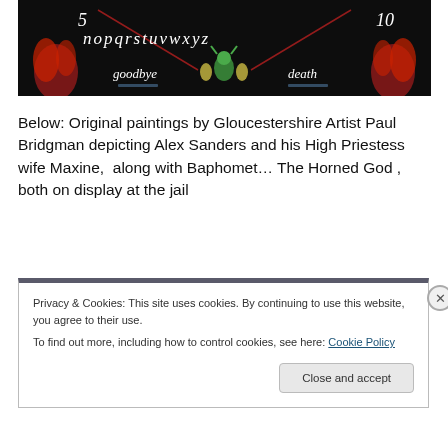[Figure (photo): Bottom portion of a dark/black Ouija board-style image showing letters 'nopqrstuvwxyz', numbers '5' and '10', the words 'goodbye' and 'death', red flame decorations on the sides, and a green horned figure in the center.]
Below: Original paintings by Gloucestershire Artist Paul Bridgman depicting Alex Sanders and his High Priestess wife Maxine,  along with Baphomet... The Horned God , both on display at the jail
Privacy & Cookies: This site uses cookies. By continuing to use this website, you agree to their use.
To find out more, including how to control cookies, see here: Cookie Policy